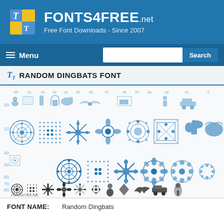[Figure (logo): Fonts4Free.net website header with logo icon (T on yellow/blue squares) and site name 'FONTS4FREE.net - Free Font Downloads - Since 2007' on blue background]
Menu | Search
RANDOM DINGBATS FONT
[Figure (illustration): Font character map preview showing Random Dingbats font glyphs including decorative snowflakes, mandalas, ornamental patterns, small animal and object icons arranged in rows with hex/decimal codes. Watermark: Fonts4Free.net]
FONT NAME:   Random Dingbats